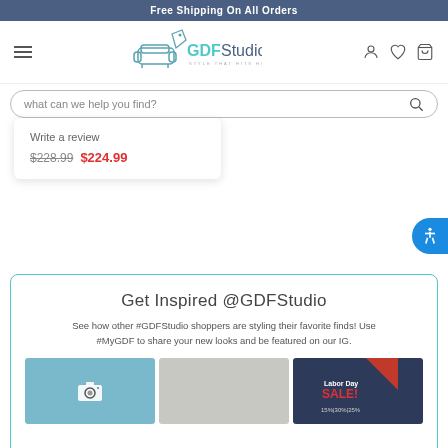Free Shipping On All Orders
[Figure (logo): GDFStudio logo with sofa and tag icon, tagline: STYLE THAT HITS HOME]
what can we help you find?
Write a review $228.99 $224.99
Get Inspired @GDFStudio
See how other #GDFStudio shoppers are styling their favorite finds! Use #MyGDF to share your new looks and be featured on our IG.
[Figure (photo): Three social media photos: a blue-toned interior, a person with a dog, and a Labor Day sale banner]
Labor Day SALE!